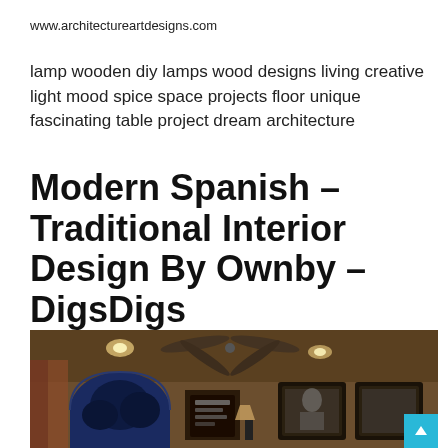www.architectureartdesigns.com
lamp wooden diy lamps wood designs living creative light mood spice space projects floor unique fascinating table project dream architecture
Modern Spanish – Traditional Interior Design By Ownby – DigsDigs
[Figure (photo): Interior room photo showing a dark-toned living area with ceiling fan, recessed lighting, an arched window with blue night view outside, framed artwork on the right wall, and decorative elements.]